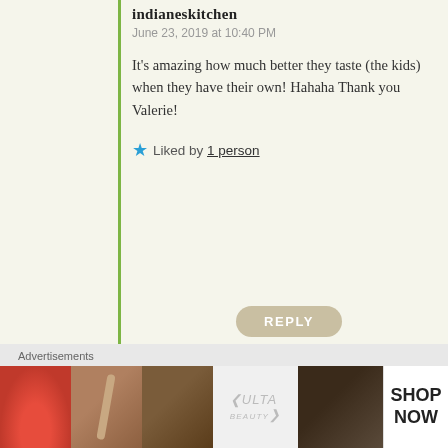indianeskitchen
June 23, 2019 at 10:40 PM
It's amazing how much better they taste (the kids) when they have their own! Hahaha Thank you Valerie!
Liked by 1 person
REPLY
sirkevinshistoricfacts
June 22, 2019 at 12:44 PM
just a right type of recipe dear friend as to me that can freeze and always have good meals when 8 hours building gardens one cares for nature and once finished all will be Victorian grand in every sense a inviting look into a world far away from today .Mystery at each bend and hedges 12 foot high avenues to show the visitor a touch of true magic. Then one of your best meatloaf in
Advertisements